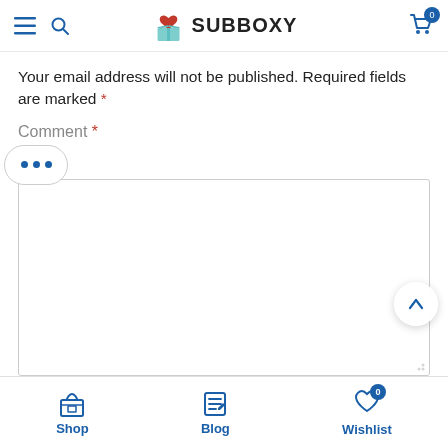[Figure (screenshot): Subboxy website header with hamburger menu, search icon, Subboxy logo with heart and box icon, and cart icon]
Your email address will not be published. Required fields are marked *
Comment *
[Figure (other): Comment text area input field (empty)]
Name *
Shop | Blog | Wishlist